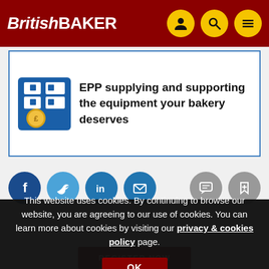British BAKER
[Figure (advertisement): EPP advertisement banner with blue EPP logo and text 'EPP supplying and supporting the equipment your bakery deserves']
[Figure (infographic): Social sharing icons row: Facebook, Twitter, LinkedIn, Email buttons on left; comment and bookmark icons on right]
This website uses cookies. By continuing to browse our website, you are agreeing to our use of cookies. You can learn more about cookies by visiting our privacy & cookies policy page.
OK
REGISTER NOW